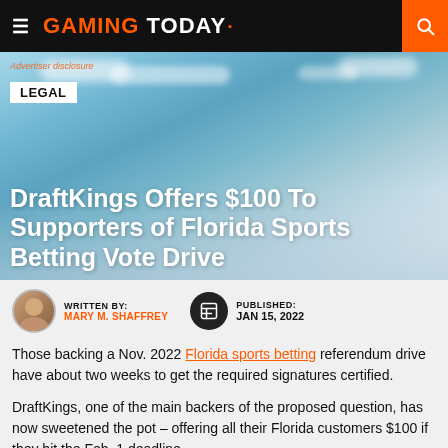GAMING TODAY
[Figure (photo): Aerial/skyline view of Florida waterfront city with blue sky and clouds, serving as hero image background]
Advertiser disclosure
LEGAL
DraftKings Offers $100 To Supporters of Florida Sports Betting Vote Drive
WRITTEN BY: MARY M. SHAFFREY
PUBLISHED: JAN 15, 2022
Those backing a Nov. 2022 Florida sports betting referendum drive have about two weeks to get the required signatures certified.
DraftKings, one of the main backers of the proposed question, has now sweetened the pot – offering all their Florida customers $100 if they hit the Feb. 1 deadline.